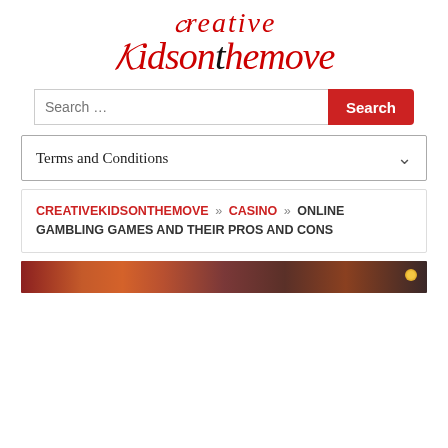[Figure (logo): Creative Kidsonthemove website logo in cursive red italic script]
Search …
Terms and Conditions
CREATIVEKIDSONTHEMOVE » CASINO » ONLINE GAMBLING GAMES AND THEIR PROS AND CONS
[Figure (photo): Cropped photo strip at the bottom showing people in a casino-like environment]